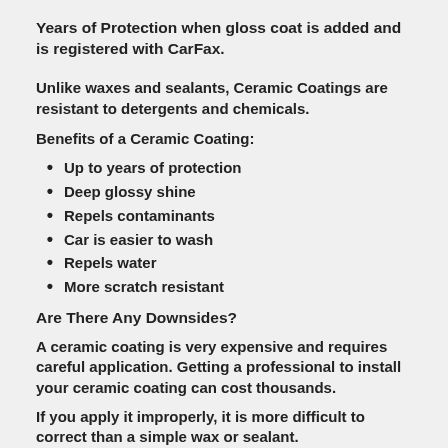Years of Protection when gloss coat is added and is registered with CarFax.
Unlike waxes and sealants, Ceramic Coatings are resistant to detergents and chemicals.
Benefits of a Ceramic Coating:
Up to years of protection
Deep glossy shine
Repels contaminants
Car is easier to wash
Repels water
More scratch resistant
Are There Any Downsides?
A ceramic coating is very expensive and requires careful application. Getting a professional to install your ceramic coating can cost thousands.
If you apply it improperly, it is more difficult to correct than a simple wax or sealant.